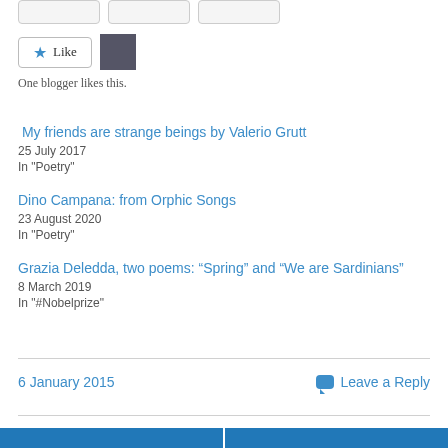One blogger likes this.
My friends are strange beings by Valerio Grutt
25 July 2017
In "Poetry"
Dino Campana: from Orphic Songs
23 August 2020
In "Poetry"
Grazia Deledda, two poems: “Spring” and “We are Sardinians”
8 March 2019
In "#Nobelprize"
6 January 2015
Leave a Reply